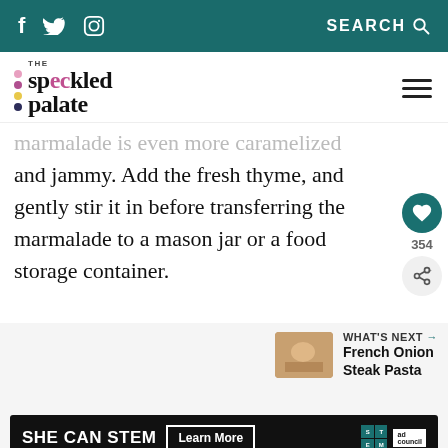f  Twitter  Instagram  SEARCH
[Figure (logo): The Speckled Palate logo with colorful dots and wordmark]
marmalade is even more caramelized and jammy. Add the fresh thyme, and gently stir it in before transferring the marmalade to a mason jar or a food storage container.
WHAT'S NEXT → French Onion Steak Pasta
[Figure (infographic): SHE CAN STEM advertisement banner with Learn More button, STEM logo and Ad Council logo]